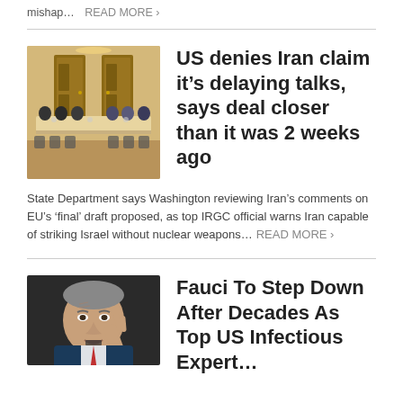mishap…  READ MORE ›
[Figure (photo): People seated around a conference table in a formal meeting room, with ornate wooden doors in the background.]
US denies Iran claim it's delaying talks, says deal closer than it was 2 weeks ago
State Department says Washington reviewing Iran's comments on EU's 'final' draft proposed, as top IRGC official warns Iran capable of striking Israel without nuclear weapons…  READ MORE ›
[Figure (photo): Close-up of an older man gesturing with his hand, appearing to speak passionately, dark background.]
Fauci To Step Down After Decades As Top US Infectious Expert…